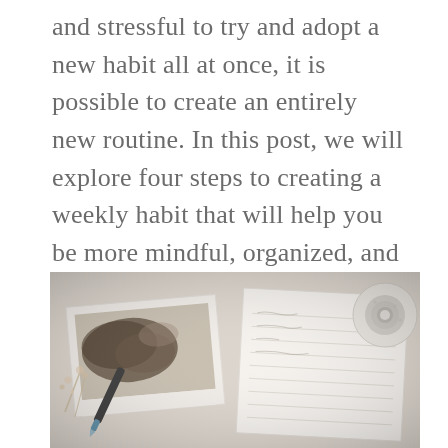and stressful to try and adopt a new habit all at once, it is possible to create an entirely new routine. In this post, we will explore four steps to creating a weekly habit that will help you be more mindful, organized, and productive throughout the course of the year.
[Figure (photo): A flat-lay photo of a journal/planner with handwritten notes, a pen, dried flowers, printed photographs with watercolor-style images, and a roll of washi tape on a light background.]